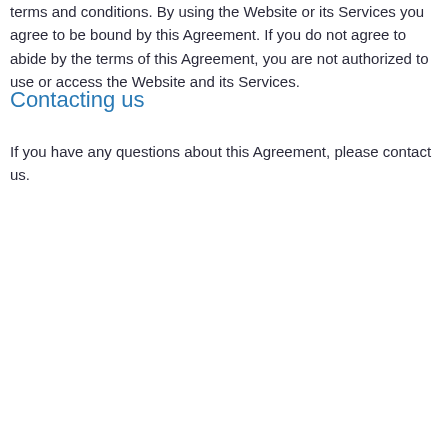terms and conditions. By using the Website or its Services you agree to be bound by this Agreement. If you do not agree to abide by the terms of this Agreement, you are not authorized to use or access the Website and its Services.
Contacting us
If you have any questions about this Agreement, please contact us.